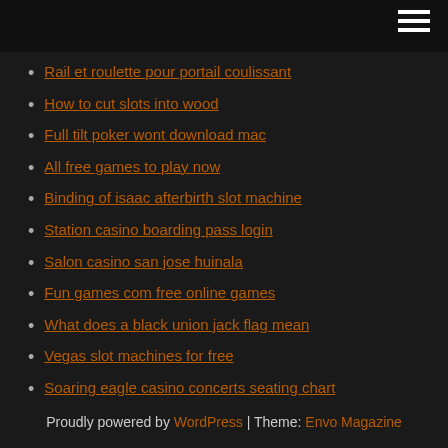[hamburger menu icon]
Rail et roulette pour portail coulissant
How to cut slots into wood
Full tilt poker wont download mac
All free games to play now
Binding of isaac afterbirth slot machine
Station casino boarding pass login
Salon casino san jose huinala
Fun games com free online games
What does a black union jack flag mean
Vegas slot machines for free
Soaring eagle casino concerts seating chart
Proudly powered by WordPress | Theme: Envo Magazine